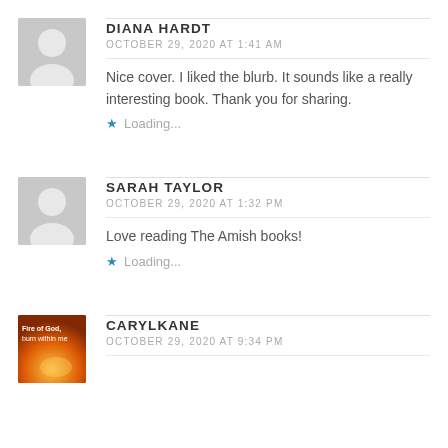DIANA HARDT
OCTOBER 29, 2020 AT 1:41 AM
Nice cover. I liked the blurb. It sounds like a really interesting book. Thank you for sharing.
Loading...
SARAH TAYLOR
OCTOBER 29, 2020 AT 1:32 PM
Love reading The Amish books!
Loading...
CARYLKANE
OCTOBER 29, 2020 AT 9:34 PM